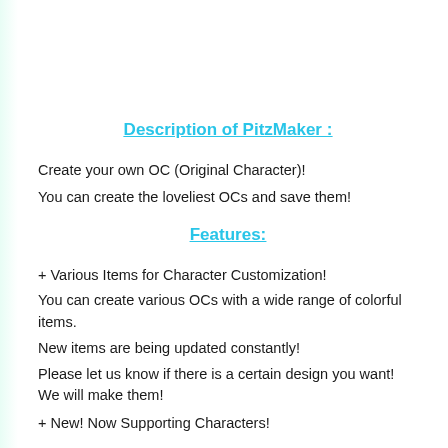Description of PitzMaker :
Create your own OC (Original Character)!
You can create the loveliest OCs and save them!
Features:
+ Various Items for Character Customization!
You can create various OCs with a wide range of colorful items.
New items are being updated constantly!
Please let us know if there is a certain design you want! We will make them!
+ New! Now Supporting Characters!